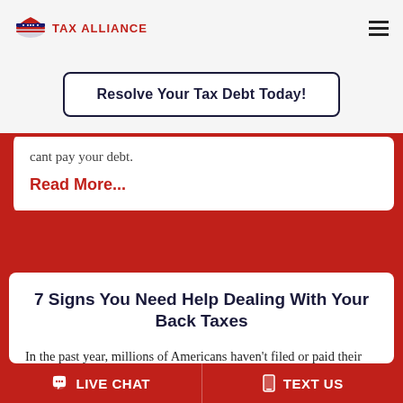TAX ALLIANCE
Resolve Your Tax Debt Today!
cant pay your debt.
Read More...
7 Signs You Need Help Dealing With Your Back Taxes
In the past year, millions of Americans haven't filed or paid their taxes on time. While some have simply forgotten the
LIVE CHAT   TEXT US